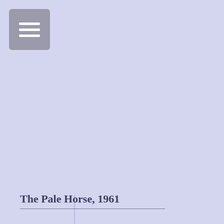[Figure (other): Menu/hamburger icon button with three horizontal white lines on a grey rounded rectangle background]
[Figure (other): A faint vertical decorative line element centered in the page]
The Pale Horse, 1961